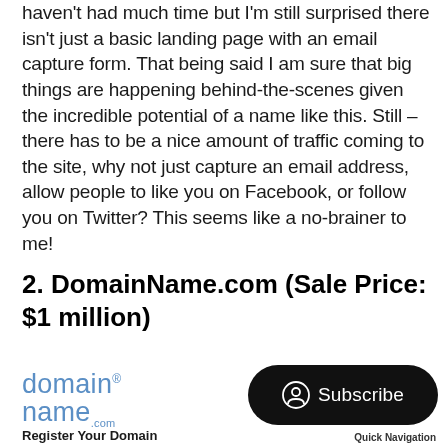haven't had much time but I'm still surprised there isn't just a basic landing page with an email capture form. That being said I am sure that big things are happening behind-the-scenes given the incredible potential of a name like this. Still – there has to be a nice amount of traffic coming to the site, why not just capture an email address, allow people to like you on Facebook, or follow you on Twitter? This seems like a no-brainer to me!
2. DomainName.com (Sale Price: $1 million)
[Figure (logo): DomainName.com logo in blue text]
Register Your Domain
[Figure (other): Black pill-shaped Subscribe button with person/circle icon]
Quick Navigation